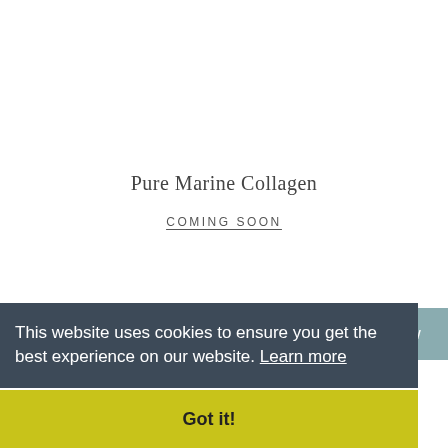Pure Marine Collagen
COMING SOON
Submit Review
This website uses cookies to ensure you get the best experience on our website. Learn more
Got it!